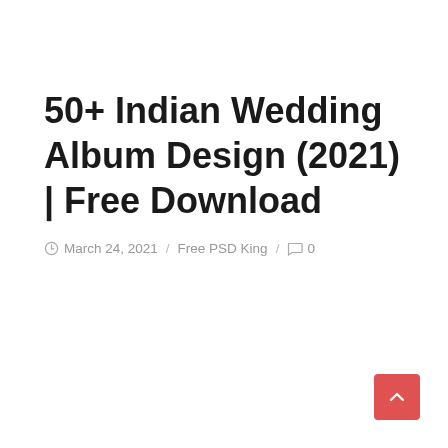50+ Indian Wedding Album Design (2021) | Free Download
March 24, 2021 / Free PSD King / 0